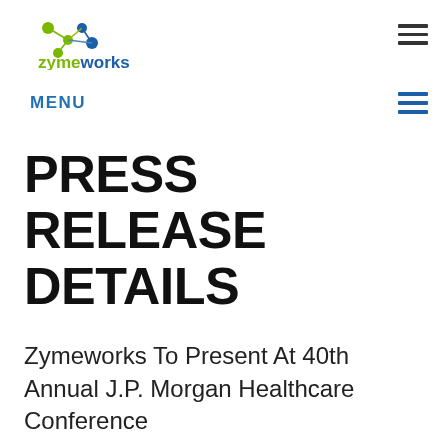[Figure (logo): Zymeworks logo with green and blue dot-node graphic and text 'zymeworks' in green and blue]
MENU
PRESS RELEASE DETAILS
Zymeworks To Present At 40th Annual J.P. Morgan Healthcare Conference